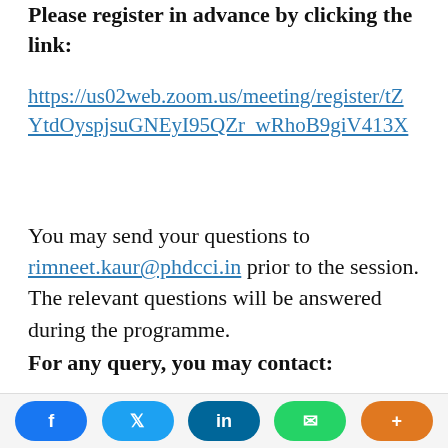Please register in advance by clicking the link:
https://us02web.zoom.us/meeting/register/tZYtdOyspjsuGNEyI95QZr_wRhoB9giV413X
You may send your questions to rimneet.kaur@phdcci.in prior to the session. The relevant questions will be answered during the programme.
For any query, you may contact:
Ms. Rimneet Kaur, Resident Director, PHD